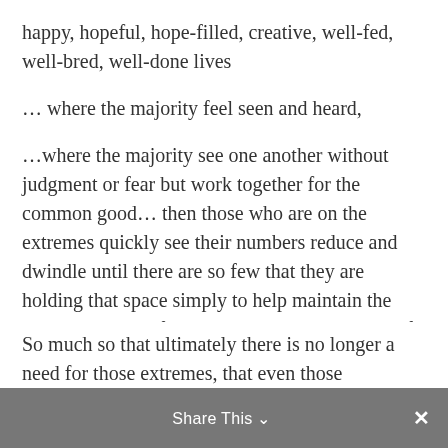happy, hopeful, hope-filled, creative, well-fed, well-bred, well-done lives
… where the majority feel seen and heard,
…where the majority see one another without judgment or fear but work together for the common good… then those who are on the extremes quickly see their numbers reduce and dwindle until there are so few that they are holding that space simply to help maintain the overall balance of the curve.  To hold the ends of the rainbow down, as it were, so the rest of it can rise up and create every color, create magic, create a sphere the encircles the entire earth.
So much so that ultimately there is no longer a need for those extremes, that even those
Share This